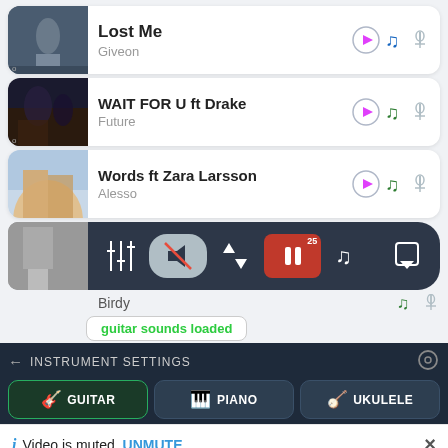Lost Me — Giveon
WAIT FOR U ft Drake — Future
Words ft Zara Larsson — Alesso
[Figure (screenshot): Media player control bar with settings, mute, sort, pause (with badge 25), music notes, and download icons]
Birdy
guitar sounds loaded
INSTRUMENT SETTINGS
GUITAR   PIANO   UKULELE
Video is muted. UNMUTE
Leonard Cohen